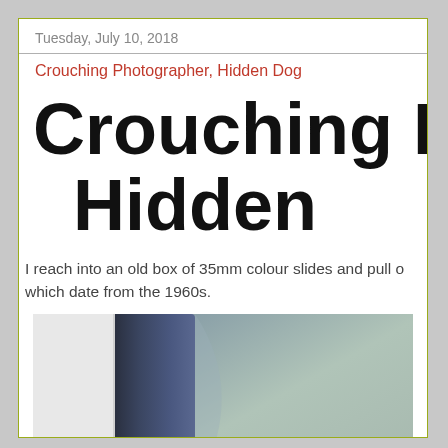Tuesday, July 10, 2018
Crouching Photographer, Hidden Dog
Crouching Pho- Hidden
I reach into an old box of 35mm colour slides and pull out some which date from the 1960s.
[Figure (photo): A partially visible photograph showing dark draping fabric on the left and a muted green-grey background on the right, likely a vintage slide scan.]